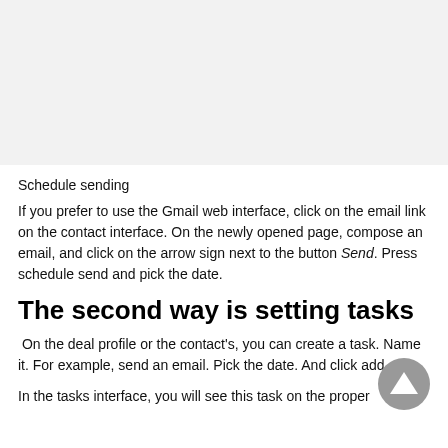[Figure (screenshot): Gray placeholder box representing a screenshot or image area at the top of the page]
Schedule sending
If you prefer to use the Gmail web interface, click on the email link on the contact interface. On the newly opened page, compose an email, and click on the arrow sign next to the button Send. Press schedule send and pick the date.
The second way is setting tasks
On the deal profile or the contact's, you can create a task. Name it. For example, send an email. Pick the date. And click add.
In the tasks interface, you will see this task on the proper